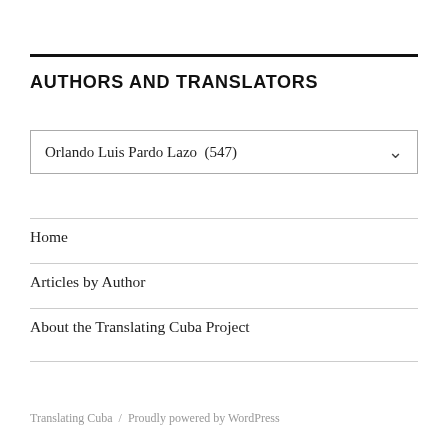AUTHORS AND TRANSLATORS
Orlando Luis Pardo Lazo  (547)
Home
Articles by Author
About the Translating Cuba Project
Translating Cuba  /  Proudly powered by WordPress